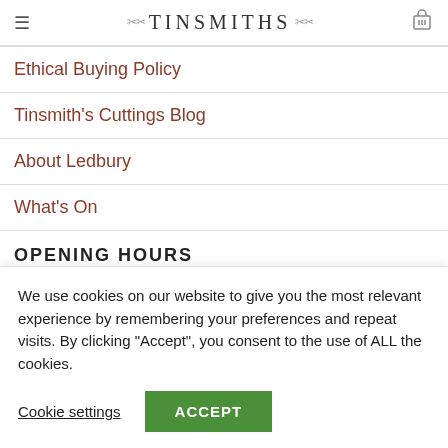TINSMITHS
Ethical Buying Policy
Tinsmith's Cuttings Blog
About Ledbury
What's On
OPENING HOURS
We use cookies on our website to give you the most relevant experience by remembering your preferences and repeat visits. By clicking "Accept", you consent to the use of ALL the cookies.
Cookie settings | ACCEPT